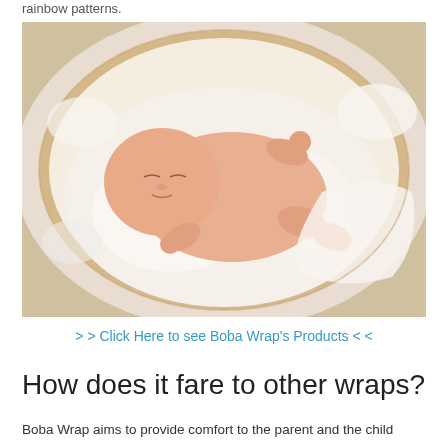rainbow patterns.
[Figure (photo): A sleeping newborn baby lying in a round wicker basket lined with white fluffy material, photographed from above on a light background.]
> > Click Here to see Boba Wrap's Products < <
How does it fare to other wraps?
Boba Wrap aims to provide comfort to the parent and the child